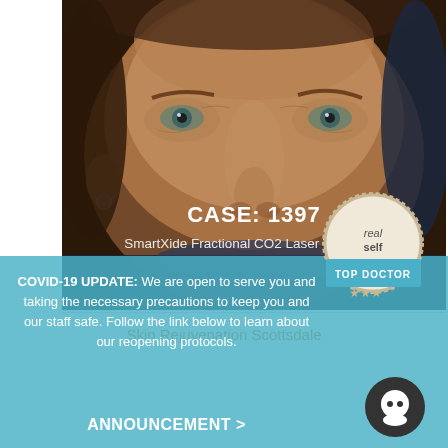[Figure (photo): Close-up photo of a patient's face (before/after or case photo) showing eyes, nose, and skin. Dark background with facial skin tones visible. Overlay text shows CASE: 1397 and SmartXide Fractional CO2 Laser Treatment.]
Skin Rejuvenation Scottsdale
COVID-19 UPDATE: We are open to serve you and taking the necessary precautions to keep you and our staff safe. Follow the link below to learn about our reopening protocols.
ANNOUNCEMENT >